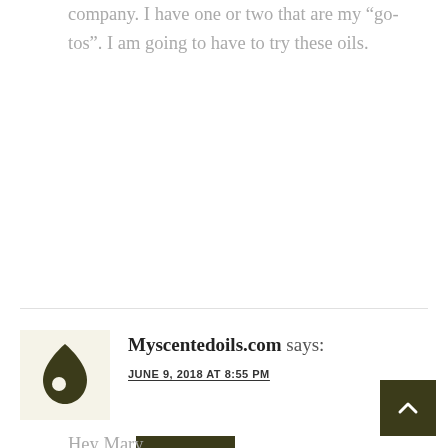company. I have one or two that are my “go-tos”. I am going to have to try these oils.
REPLY
Myscentedoils.com says:
JUNE 9, 2018 AT 8:55 PM
Hey Mary,
There are a ton of different essential oil companies out there. I have tried a lot of different companies oils out! I would